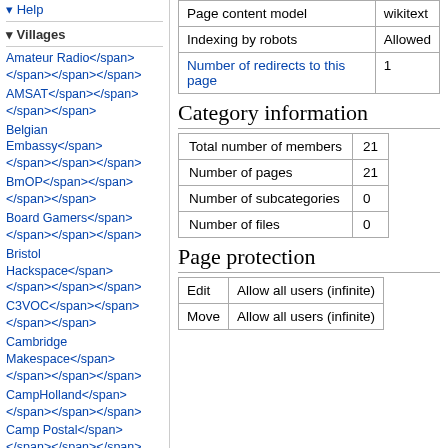Help
Villages
Amateur Radio</span></span></span></span>
AMSAT</span></span></span></span>
Belgian Embassy</span></span></span></span>
BmOP</span></span></span></span>
Board Gamers</span></span></span></span>
Bristol Hackspace</span></span></span></span>
C3VOC</span></span></span></span>
Cambridge Makespace</span></span></span></span>
CampHolland</span></span></span></span>
Camp Postal</span></span></span></span>
ChaosWest</span></span></span></span>
|  |  |
| --- | --- |
| Page content model | wikitext |
| Indexing by robots | Allowed |
| Number of redirects to this page | 1 |
Category information
|  |  |
| --- | --- |
| Total number of members | 21 |
| Number of pages | 21 |
| Number of subcategories | 0 |
| Number of files | 0 |
Page protection
|  |  |
| --- | --- |
| Edit | Allow all users (infinite) |
| Move | Allow all users (infinite) |